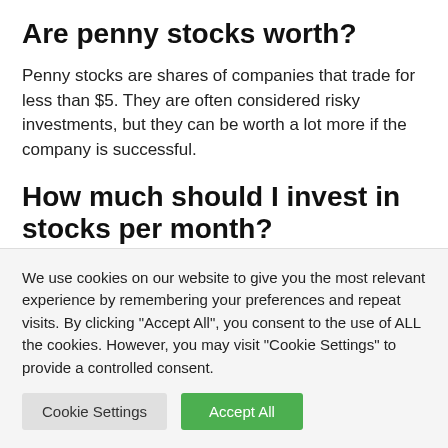Are penny stocks worth?
Penny stocks are shares of companies that trade for less than $5. They are often considered risky investments, but they can be worth a lot more if the company is successful.
How much should I invest in stocks per month?
The amount of money you should invest in stocks per
We use cookies on our website to give you the most relevant experience by remembering your preferences and repeat visits. By clicking "Accept All", you consent to the use of ALL the cookies. However, you may visit "Cookie Settings" to provide a controlled consent.
Cookie Settings | Accept All